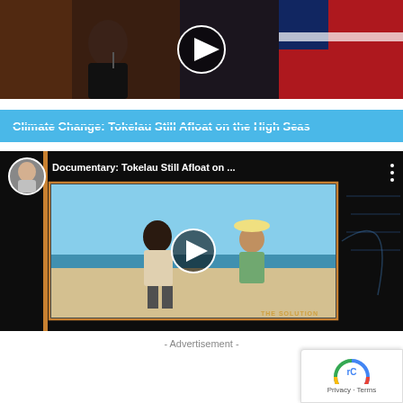[Figure (screenshot): Video thumbnail showing a woman speaking at a podium with a flag in the background, dark warm-toned setting with a play button overlay]
Climate Change: Tokelau Still Afloat on the High Seas
[Figure (screenshot): YouTube video thumbnail showing documentary 'Tokelau Still Afloat on...' with a person on a beach and a play button, avatar of a man in upper left]
- Advertisement -